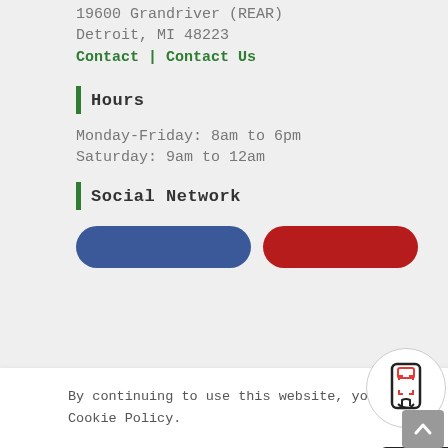19600 Grandriver (REAR)
Detroit, MI 48223
Contact | Contact Us
Hours
Monday-Friday: 8am to 6pm
Saturday: 9am to 12am
Social Network
[Figure (other): Facebook and YouTube social network buttons]
By continuing to use this website, you consent to the use of cookies in accordance with our Cookie Policy.
ACCEPT
See our products in your space